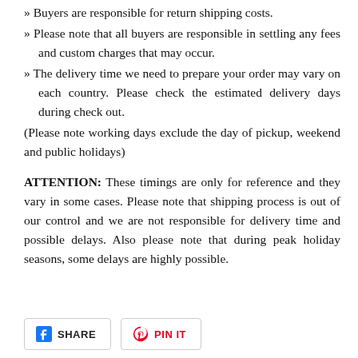» Buyers are responsible for return shipping costs.
» Please note that all buyers are responsible in settling any fees and custom charges that may occur.
» The delivery time we need to prepare your order may vary on each country. Please check the estimated delivery days during check out.
(Please note working days exclude the day of pickup, weekend and public holidays)
ATTENTION: These timings are only for reference and they vary in some cases. Please note that shipping process is out of our control and we are not responsible for delivery time and possible delays. Also please note that during peak holiday seasons, some delays are highly possible.
[Figure (other): Social share buttons: Facebook SHARE and Pinterest PIN IT]